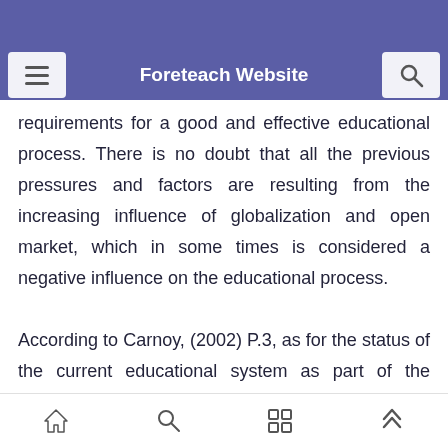education will urges the governments to do their best for improving the educational sector and provide it with more facilities and all the needed
Foreteach Website
requirements for a good and effective educational process. There is no doubt that all the previous pressures and factors are resulting from the increasing influence of globalization and open market, which in some times is considered a negative influence on the educational process.

According to Carnoy, (2002) P.3, as for the status of the current educational system as part of the influencing factors of globalization on the
Home | Search | Apps | Up